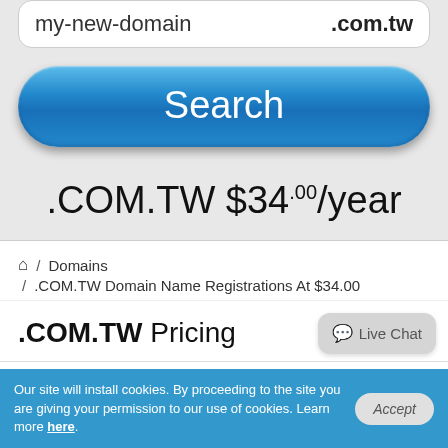[Figure (screenshot): Domain search input box showing 'my-new-domain' text and '.com.tw' extension label]
[Figure (screenshot): Blue rounded Search button]
.COM.TW $34.00/year
/ Domains / .COM.TW Domain Name Registrations At $34.00
.COM.TW Pricing
Live Chat
Our site will install cookies. By proceeding to the site you are giving your permission to our use of cookies. Learn more here.